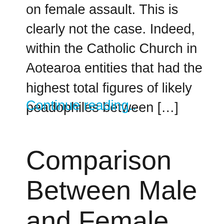on female assault. This is clearly not the case. Indeed, within the Catholic Church in Aotearoa entities that had the highest total figures of likely peadophiles between […]
Continue reading..
Comparison Between Male and Female Survivors of Sexual Abuse and